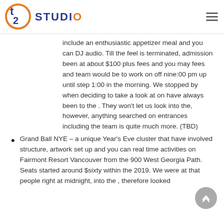T2 STUDIO
include an enthusiastic appetizer meal and you can DJ audio. Till the feel is terminated, admission been at about $100 plus fees and you may fees and team would be to work on off nine:00 pm up until step 1:00 in the morning. We stopped by when deciding to take a look at on have always been to the . They won't let us look into the, however, anything searched on entrances including the team is quite much more. (TBD)
Grand Ball NYE – a unique Year's Eve cluster that have involved structure, artwork set up and you can real time activities on Fairmont Resort Vancouver from the 900 West Georgia Path. Seats started around $sixty within the 2019. We were at that people right at midnight, into the , therefore looked